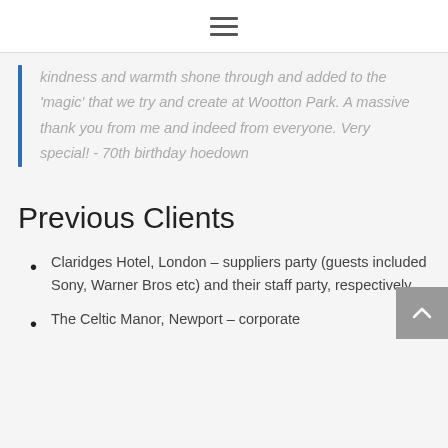kindness and warmth shone through and added to the 'magic' that we try and create at Wootton Park. A massive thank you from me and indeed from everyone. Very special! - 70th birthday hoedown
Previous Clients
Claridges Hotel, London – suppliers party (guests included Sony, Warner Bros etc) and their staff party, respectively
The Celtic Manor, Newport – corporate